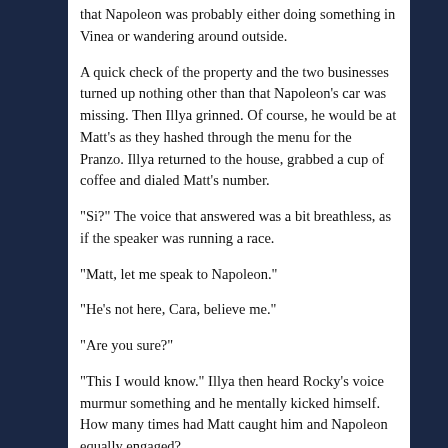that Napoleon was probably either doing something in Vinea or wandering around outside.
A quick check of the property and the two businesses turned up nothing other than that Napoleon's car was missing. Then Illya grinned. Of course, he would be at Matt's as they hashed through the menu for the Pranzo. Illya returned to the house, grabbed a cup of coffee and dialed Matt's number.
"Si?" The voice that answered was a bit breathless, as if the speaker was running a race.
"Matt, let me speak to Napoleon."
"He's not here, Cara, believe me."
"Are you sure?"
"This I would know." Illya then heard Rocky's voice murmur something and he mentally kicked himself. How many times had Matt caught him and Napoleon equally engaged?
"Sorry, Azurro." He cradled the phone before Matt could protest otherwise. In the old days, Illya would have been halfway to Waverly's office by now, certain of THRUSH involvement, but those days were past them now. Still,